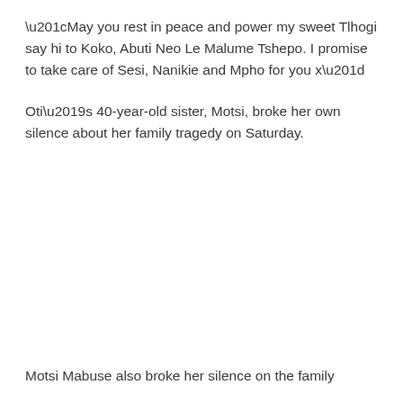“May you rest in peace and power my sweet Tlhogi say hi to Koko, Abuti Neo Le Malume Tshepo. I promise to take care of Sesi, Nanikie and Mpho for you x”
Oti’s 40-year-old sister, Motsi, broke her own silence about her family tragedy on Saturday.
Motsi Mabuse also broke her silence on the family